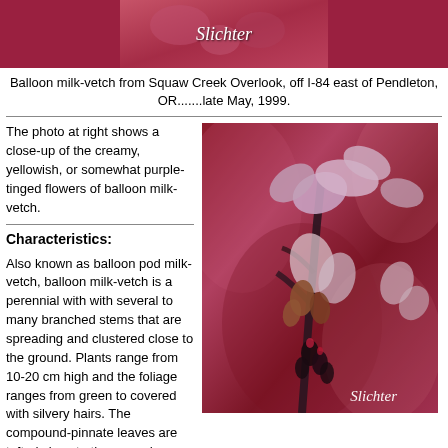[Figure (photo): Close-up photo of balloon milk-vetch plant with pink/purple flowers, photographer credit Slichter at top]
Balloon milk-vetch from Squaw Creek Overlook, off I-84 east of Pendleton, OR.......late May, 1999.
The photo at right shows a close-up of the creamy, yellowish, or somewhat purple-tinged flowers of balloon milk-vetch.
[Figure (photo): Close-up photograph of balloon milk-vetch flowers showing purple-tinged petals and buds against a dark reddish background, photographer credit Slichter at bottom right]
Characteristics:
Also known as balloon pod milk-vetch, balloon milk-vetch is a perennial with with several to many branched stems that are spreading and clustered close to the ground. Plants range from 10-20 cm high and the foliage ranges from green to covered with silvery hairs. The compound-pinnate leaves are tufted close to the ground, measure 2.5-4 cm long, and bear 9-21 leaflets. Individual leaflets are narrowly oblong to obovate in shape 6-10 mm long. The upper surface of the leaflets ranges from glabrous to sparsely haired while the lower surface is covered with appressed hairs.